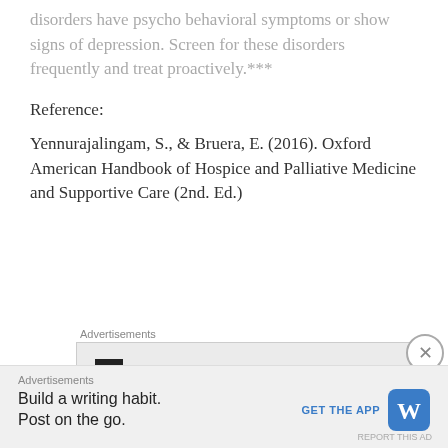Almost all patients with chronic neurological disorders have psycho behavioral symptoms or show signs of depression. Screen for these disorders frequently and treat proactively.***
Reference:
Yennurajalingam, S., & Bruera, E. (2016). Oxford American Handbook of Hospice and Palliative Medicine and Supportive Care (2nd. Ed.)
[Figure (other): Advertisement banner showing P2 logo on dark background]
[Figure (other): Bottom advertisement bar: 'Build a writing habit. Post on the go.' with GET THE APP button and WordPress icon]